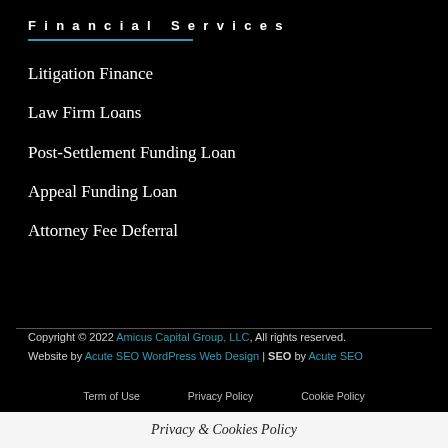Financial Services
Litigation Finance
Law Firm Loans
Post-Settlement Funding Loan
Appeal Funding Loan
Attorney Fee Deferral
Copyright © 2022 Amicus Capital Group, LLC, All rights reserved. Website by Acute SEO WordPress Web Design | SEO by Acute SEO
Term of Use   Privacy Policy   Cookie Policy
Privacy & Cookies Policy